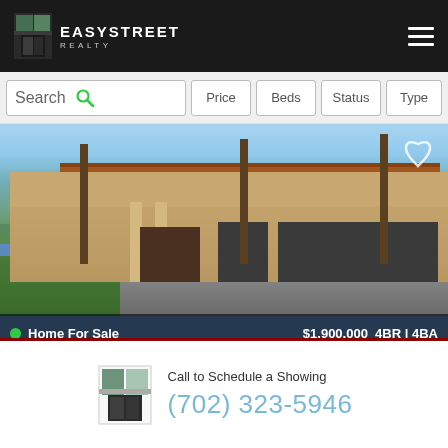EasyStreet Realty
Search | Price | Beds | Status | Type
[Figure (photo): Exterior photo of a large luxury home for sale in Las Vegas, two-story Mediterranean-style with three-car garage, palm trees, and well-landscaped front yard]
Home For Sale   $1,900,000   4BR | 4BA
70 Photos   12 Princeville Ln, Las Vegas 89113
[Figure (photo): Preview strip of another listing with blue sky visible]
Call to Schedule a Showing
(702) 323-5946